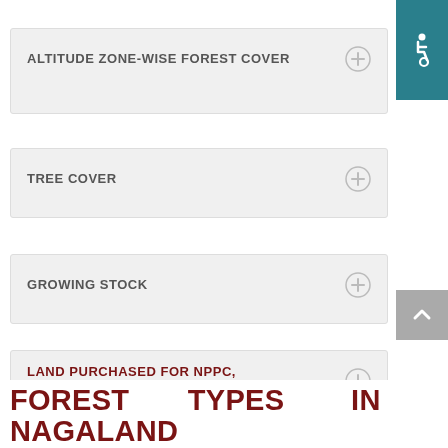ALTITUDE ZONE-WISE FOREST COVER
TREE COVER
GROWING STOCK
LAND PURCHASED FOR NPPC, TULI
FOREST TYPES IN NAGALAND